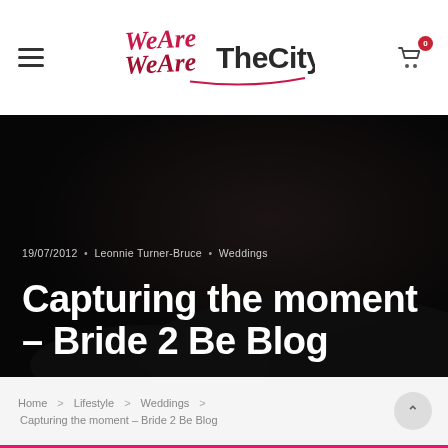WeAreTheCity — navigation header with hamburger menu and cart icon (0 items)
[Figure (logo): WeAreTheCity logo: stylized handwritten 'WeAre' in pink/red above 'WeAre', with 'TheCity' in dark gray beside it, with a pink underline swoosh]
19/07/2012 • Leonnie Turner-Bruce • Weddings
Capturing the moment – Bride 2 Be Blog
Home > Lifestyle > Weddings > Capturing the moment – Bride 2 Be Blog